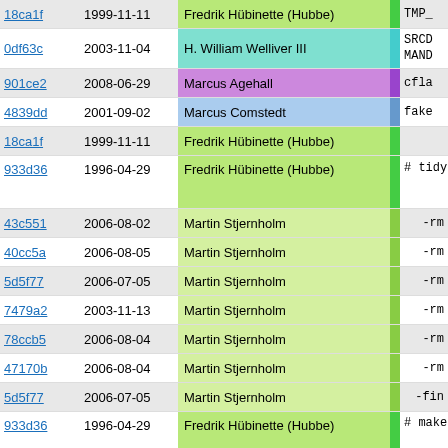| hash | date | author | bar | code |
| --- | --- | --- | --- | --- |
| 18ca1f | 1999-11-11 | Fredrik Hübinette (Hubbe) |  | TMP_ |
| 0df63c | 2003-11-04 | H. William Welliver III |  | SRCD MAND |
| 901ce2 | 2008-06-29 | Marcus Agehall |  | cfla |
| 4839dd | 2001-09-02 | Marcus Comstedt |  | fake |
| 18ca1f | 1999-11-11 | Fredrik Hübinette (Hubbe) |  |  |
| 933d36 | 1996-04-29 | Fredrik Hübinette (Hubbe) |  | # tidy up a
tidy: |
| 43c551 | 2006-08-02 | Martin Stjernholm |  | -rm |
| 40cc5a | 2006-08-05 | Martin Stjernholm |  | -rm |
| 5d5f77 | 2006-07-05 | Martin Stjernholm |  | -rm |
| 7479a2 | 2003-11-13 | Martin Stjernholm |  | -rm |
| 78ccb5 | 2006-08-04 | Martin Stjernholm |  | -rm |
| 47170b | 2006-08-04 | Martin Stjernholm |  | -rm |
| 5d5f77 | 2006-07-05 | Martin Stjernholm |  | -fin |
| 933d36 | 1996-04-29 | Fredrik Hübinette (Hubbe) |  | # make clean |
| 7479a2 | 2003-11-13 | Martin Stjernholm |  | clean_here: |
| 332f78 | 2002-11-13 | Martin Nilsson |  | -( c |